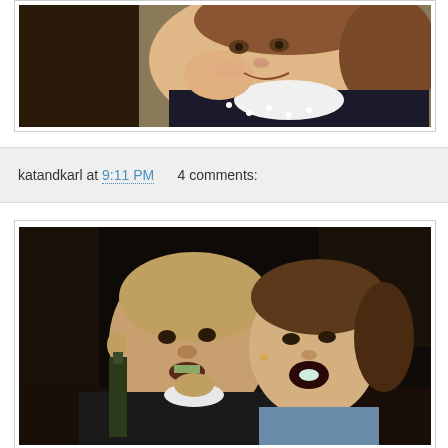[Figure (photo): Close-up photo of a young girl smiling, wearing a black and white polka dot top with white turtleneck, resting her chin on her hand]
katandkarl at 9:11 PM     4 comments:
[Figure (photo): Dark indoor photo of a man and woman posing together, man appears to be biting something, woman has mouth open, both laughing, dark bar/restaurant setting]